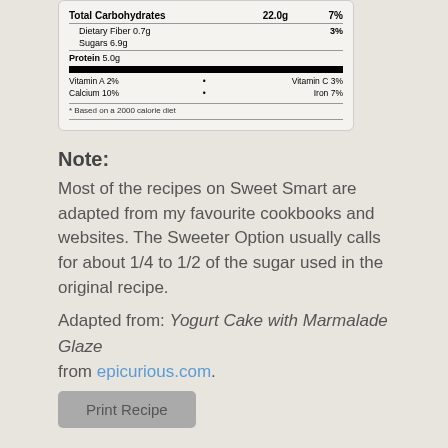[Figure (table-as-image): Partial nutrition facts label showing Total Carbohydrates 22.0g 7%, Dietary Fiber 0.7g 3%, Sugars 6.9g, Protein 5.0g, Vitamin A 2%, Vitamin C 3%, Calcium 10%, Iron 7%, footnote: Based on a 2000 calorie diet]
Note:
Most of the recipes on Sweet Smart are adapted from my favourite cookbooks and websites. The Sweeter Option usually calls for about 1/4 to 1/2 of the sugar used in the original recipe.
Adapted from: Yogurt Cake with Marmalade Glaze from epicurious.com.